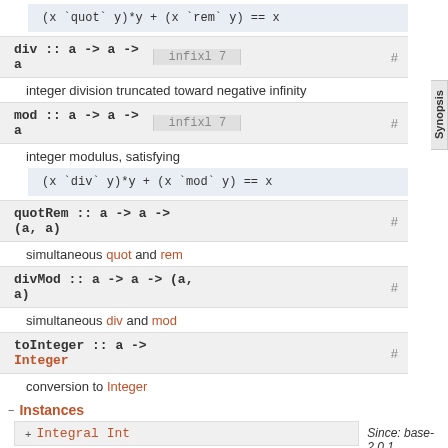div :: a -> a -> a   infixl 7   #
integer division truncated toward negative infinity
mod :: a -> a -> a   infixl 7   #
integer modulus, satisfying
quotRem :: a -> a -> (a, a)   #
simultaneous quot and rem
divMod :: a -> a -> (a, a)   #
simultaneous div and mod
toInteger :: a -> Integer   #
conversion to Integer
Instances
Integral Int   Since: base-2.0.1